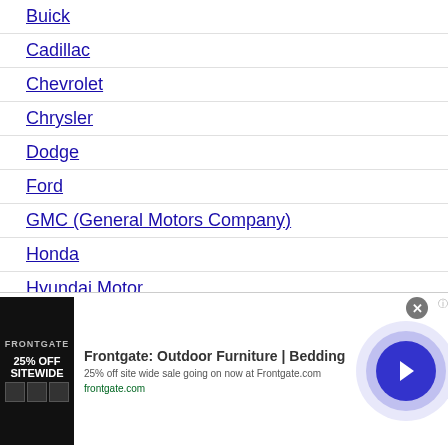Buick
Cadillac
Chevrolet
Chrysler
Dodge
Ford
GMC (General Motors Company)
Honda
Hyundai Motor
Infiniti
JD Byrider
[Figure (advertisement): Frontgate: Outdoor Furniture | Bedding. 25% off site wide sale going on now at Frontgate.com. frontgate.com]